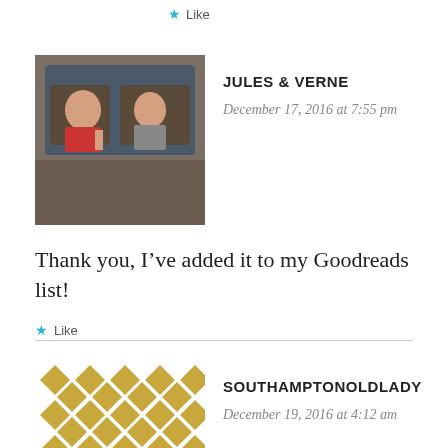Like
[Figure (photo): Avatar photo of Jules & Verne — two people sitting on a vehicle/bus]
JULES & VERNE
December 17, 2016 at 7:55 pm
Thank you, I've added it to my Goodreads list!
Like
[Figure (logo): Gold geometric diamond/lattice pattern avatar for SouthamptonOldLady]
SOUTHAMPTONOLDLADY
December 19, 2016 at 4:12 am